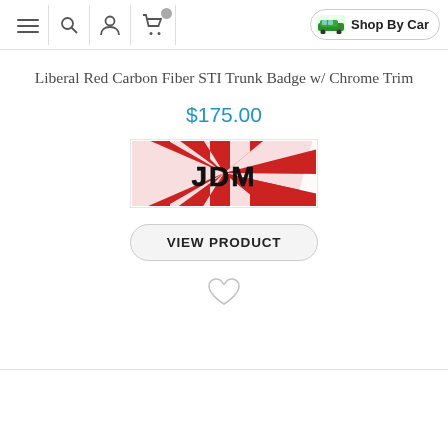Navigation bar with menu, search, account, cart icons and Shop By Car button
Liberal Red Carbon Fiber STI Trunk Badge w/ Chrome Trim
$175.00
[Figure (photo): JDM Rising Sun badge product image — rectangular badge with red and white rising sun rays pattern and bold black JDM text in center]
VIEW PRODUCT
[Figure (illustration): Heart/wishlist outline icon]